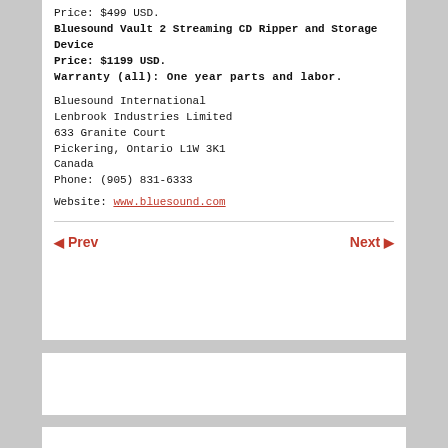Price: $499 USD.
Bluesound Vault 2 Streaming CD Ripper and Storage Device
Price: $1199 USD.
Warranty (all): One year parts and labor.

Bluesound International
Lenbrook Industries Limited
633 Granite Court
Pickering, Ontario L1W 3K1
Canada
Phone: (905) 831-6333

Website: www.bluesound.com
◀ Prev    Next ▶